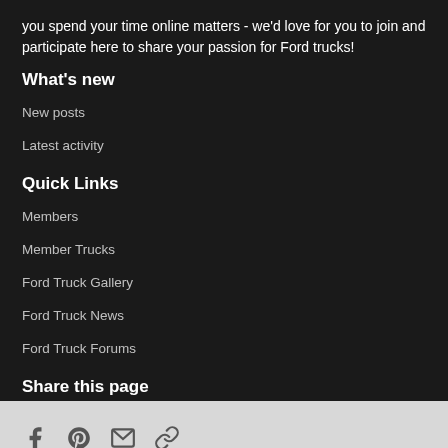you spend your time online matters - we'd love for you to join and participate here to share your passion for Ford trucks!
What's new
New posts
Latest activity
Quick Links
Members
Member Trucks
Ford Truck Gallery
Ford Truck News
Ford Truck Forums
Share this page
[Figure (other): Social share icons: Facebook, Pinterest, Email, and another link icon on a light grey background]